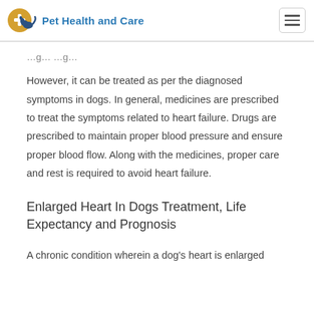Pet Health and Care
However, it can be treated as per the diagnosed symptoms in dogs. In general, medicines are prescribed to treat the symptoms related to heart failure. Drugs are prescribed to maintain proper blood pressure and ensure proper blood flow. Along with the medicines, proper care and rest is required to avoid heart failure.
Enlarged Heart In Dogs Treatment, Life Expectancy and Prognosis
A chronic condition wherein a dog's heart is enlarged